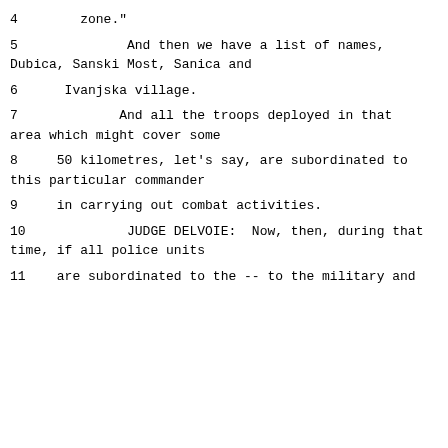4        zone."
5              And then we have a list of names,
Dubica, Sanski Most, Sanica and
6      Ivanjska village.
7             And all the troops deployed in that
area which might cover some
8     50 kilometres, let's say, are subordinated to
this particular commander
9     in carrying out combat activities.
10             JUDGE DELVOIE:  Now, then, during that
time, if all police units
11    are subordinated to the -- to the military and